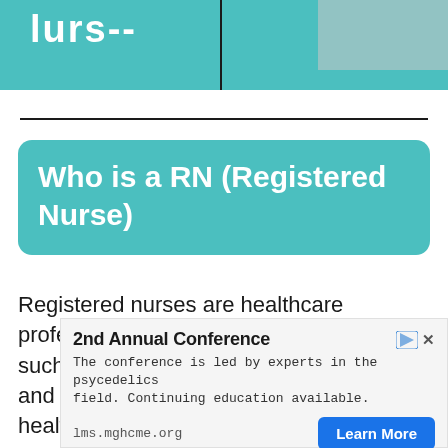[Figure (illustration): Partial teal banner at top with large white bold text (cropped), a diagonal slash, and a gray rectangle on the right side]
Who is a RN (Registered Nurse)
Registered nurses are healthcare professionals who provide care in settings such as hospitals, clinics, nursing homes and schools. They work alongside other health professionals to provide high-quality
2nd Annual Conference
The conference is led by experts in the psycedelics field. Continuing education available.
lms.mghcme.org
Learn More